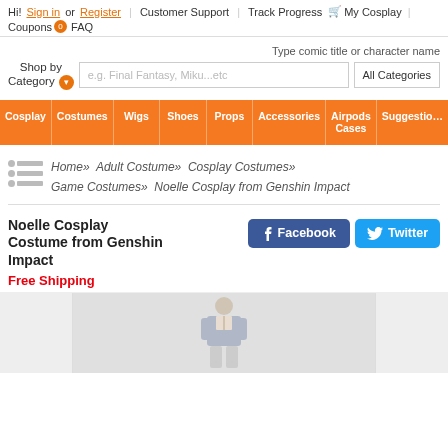Hi! Sign in or Register | Customer Support | Track Progress | My Cosplay | Coupons | FAQ
Type comic title or character name
Shop by Category  e.g. Final Fantasy, Miku...etc  All Categories
Cosplay
Costumes
Wigs
Shoes
Props
Accessories
Airpods Cases
Suggestions
Home» Adult Costume» Cosplay Costumes» Game Costumes» Noelle Cosplay from Genshin Impact
Noelle Cosplay Costume from Genshin Impact
Free Shipping
[Figure (photo): Product image area showing Noelle cosplay costume from Genshin Impact]